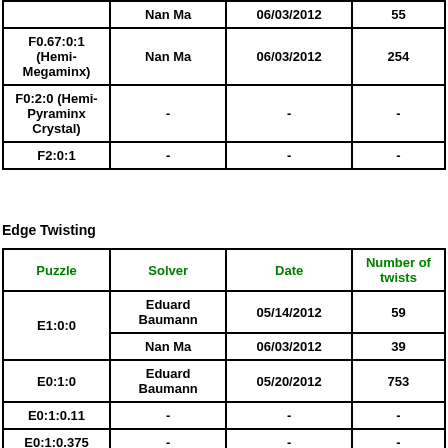| Puzzle | Solver | Date | Number of twists |
| --- | --- | --- | --- |
|  | Nan Ma | 06/03/2012 | 55 |
| F0.67:0:1 (Hemi-Megaminx) | Nan Ma | 06/03/2012 | 254 |
| F0:2:0 (Hemi-Pyraminx Crystal) | - | - | - |
| F2:0:1 | - | - | - |
Edge Twisting
| Puzzle | Solver | Date | Number of twists |
| --- | --- | --- | --- |
| E1:0:0 | Eduard Baumann | 05/14/2012 | 59 |
| E1:0:0 | Nan Ma | 06/03/2012 | 39 |
| E0:1:0 | Eduard Baumann | 05/20/2012 | 753 |
| E0:1:0.11 | - | - | - |
| E0:1:0.375 | - | - | - |